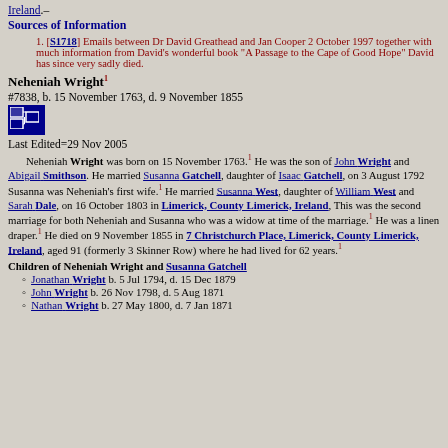Ireland.–
Sources of Information
[S1718] Emails between Dr David Greathead and Jan Cooper 2 October 1997 together with much information from David's wonderful book "A Passage to the Cape of Good Hope" David has since very sadly died.
Neheniah Wright¹
#7838, b. 15 November 1763, d. 9 November 1855
Last Edited=29 Nov 2005
Neheniah Wright was born on 15 November 1763.¹ He was the son of John Wright and Abigail Smithson. He married Susanna Gatchell, daughter of Isaac Gatchell, on 3 August 1792 Susanna was Neheniah's first wife.¹ He married Susanna West, daughter of William West and Sarah Dale, on 16 October 1803 in Limerick, County Limerick, Ireland, This was the second marriage for both Neheniah and Susanna who was a widow at time of the marriage.¹ He was a linen draper.¹ He died on 9 November 1855 in 7 Christchurch Place, Limerick, County Limerick, Ireland, aged 91 (formerly 3 Skinner Row) where he had lived for 62 years.¹
Children of Neheniah Wright and Susanna Gatchell
Jonathan Wright b. 5 Jul 1794, d. 15 Dec 1879
John Wright b. 26 Nov 1798, d. 5 Aug 1871
Nathan Wright b. 27 May 1800, d. 7 Jan 1871